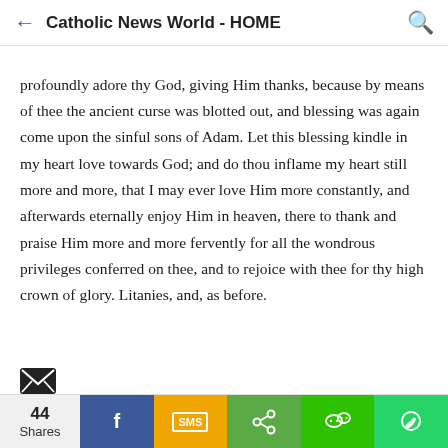Catholic News World - HOME
profoundly adore thy God, giving Him thanks, because by means of thee the ancient curse was blotted out, and blessing was again come upon the sinful sons of Adam. Let this blessing kindle in my heart love towards God; and do thou inflame my heart still more and more, that I may ever love Him more constantly, and afterwards eternally enjoy Him in heaven, there to thank and praise Him more and more fervently for all the wondrous privileges conferred on thee, and to rejoice with thee for thy high crown of glory. Litanies, and, as before.
[Figure (other): Email share icon (envelope)]
44 Shares | Facebook | SMS | Share | WeChat | WhatsApp